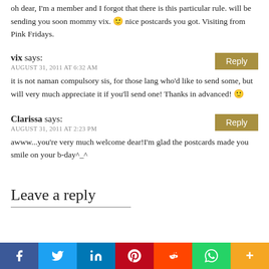oh dear, I'm a member and I forgot that there is this particular rule. will be sending you soon mommy vix. 🙂 nice postcards you got. Visiting from Pink Fridays.
vix says:
AUGUST 31, 2011 AT 6:32 AM
it is not naman compulsory sis, for those lang who'd like to send some, but will very much appreciate it if you'll send one! Thanks in advanced! 🙂
Clarissa says:
AUGUST 31, 2011 AT 2:23 PM
awww...you're very much welcome dear!I'm glad the postcards made you smile on your b-day^_^
Leave a reply